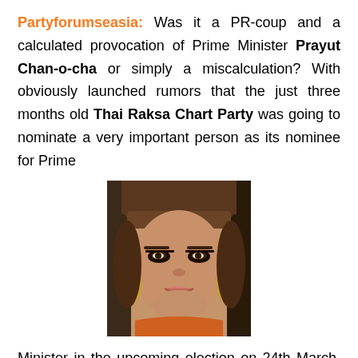Partyforumseasia: Was it a PR-coup and a calculated provocation of Prime Minister Prayut Chan-o-cha or simply a miscalculation? With obviously launched rumors that the just three months old Thai Raksa Chart Party was going to nominate a very important person as its nominee for Prime
[Figure (photo): Close-up photo of a woman with brown bangs, dramatic eye makeup, and gold earrings, appearing to be a Thai public figure.]
Minister in the upcoming election on 24th March, the media attention was guaranteed. The bombshell exploded on the last possible date for the nomination last Friday, February 8, when Thai Raksa Chart's leader Preechapol